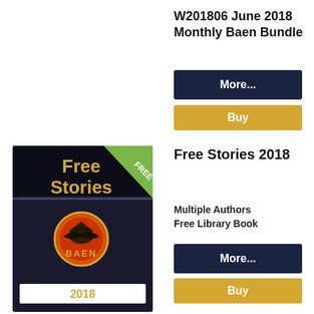W201806 June 2018 Monthly Baen Bundle
More...
Buy
[Figure (illustration): Book cover for Free Stories 2018 by Baen Books. Dark background with 'Free Stories' in gold text, a green triangle banner in top-right corner reading FREE, the Baen logo (eagle on orange/red circle) in the center-bottom area, and '2018' in gold text on a white bar at the bottom.]
Free Stories 2018
Multiple Authors
Free Library Book
More...
Buy